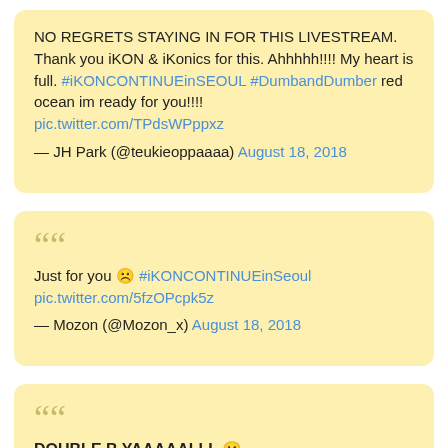NO REGRETS STAYING IN FOR THIS LIVESTREAM. Thank you iKON & iKonics for this. Ahhhhh!!!! My heart is full. #iKONCONTINUEinSEOUL #DumbandDumber red ocean im ready for you!!!! pic.twitter.com/TPdsWPppxz — JH Park (@teukieoppaaaa) August 18, 2018
Just for you ☹️ #iKONCONTINUEinSeoul pic.twitter.com/5fzOPcpk5z — Mozon (@Mozon_x) August 18, 2018
DOUBLE B YAAAAALLL ☹️